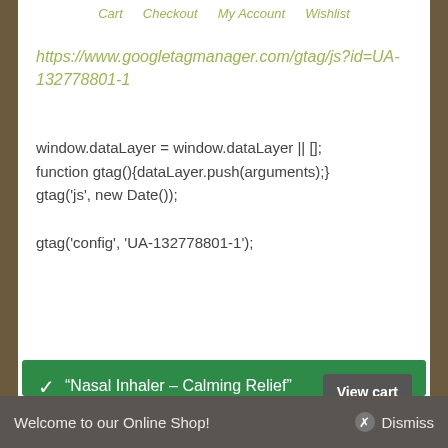Cart  Checkout  My Account  Wishlist
https://www.googletagmanager.com/gtag/js?id=UA-132778801-1
window.dataLayer = window.dataLayer || [];
function gtag(){dataLayer.push(arguments);}
gtag('js', new Date());

gtag('config', 'UA-132778801-1');
✓ "Nasal Inhaler – Calming Relief" has been added to your cart.
View cart
Welcome to our Online Shop!  ⊗ Dismiss